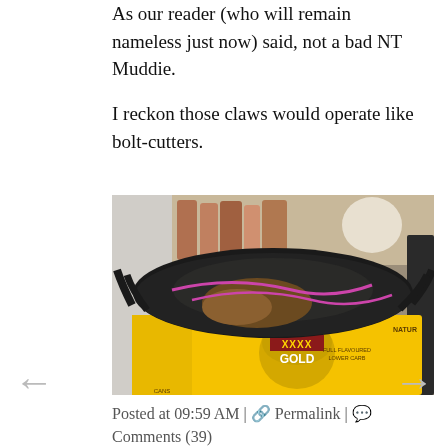As our reader (who will remain nameless just now) said, not a bad NT Muddie.
I reckon those claws would operate like bolt-cutters.
[Figure (photo): A large mud crab (NT Muddie) sitting on top of a yellow XXXX Gold beer case. The crab is dark/black in color with its claws visible. The beer carton reads 'XXXX GOLD' with 'FULL FLAVOURED LOWER CARB' and 'NATURA' partially visible. Background shows shelves and other items.]
Posted at 09:59 AM | 🔗 Permalink | 💬 Comments (39)